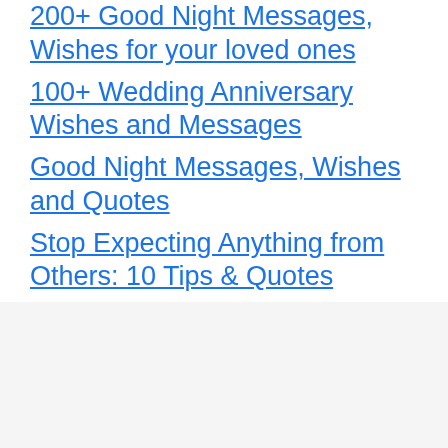200+ Good Night Messages, Wishes for your loved ones
100+ Wedding Anniversary Wishes and Messages
Good Night Messages, Wishes and Quotes
Stop Expecting Anything from Others: 10 Tips & Quotes
Categories
New year wishes